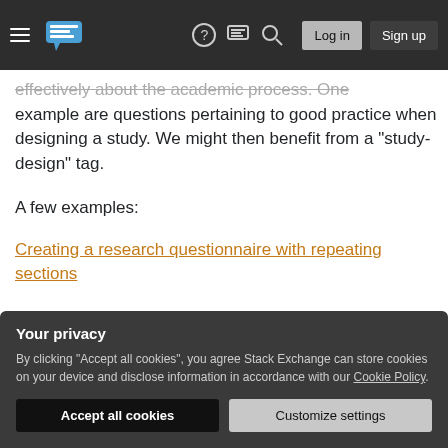Stack Exchange navigation bar with hamburger menu, logo, help, chat, search icons, Log in and Sign up buttons
effectively about the academic process. One example are questions pertaining to good practice when designing a study. We might then benefit from a "study-design" tag.
A few examples:
Creating a research questionnaire with repeating sections
What tradeoffs are there between internal and external validity?
Your privacy
By clicking "Accept all cookies", you agree Stack Exchange can store cookies on your device and disclose information in accordance with our Cookie Policy.
Accept all cookies  Customize settings